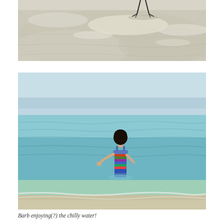[Figure (photo): Close-up photo of shallow beach water with a bird's legs visible near the top, clear shallow water with ripples and sandy bottom]
[Figure (photo): Photo of a woman in a colorful striped swimsuit standing waist-deep in calm turquoise ocean water, viewed from behind, with blue sky horizon in the background]
Barb enjoying(?) the chilly water!